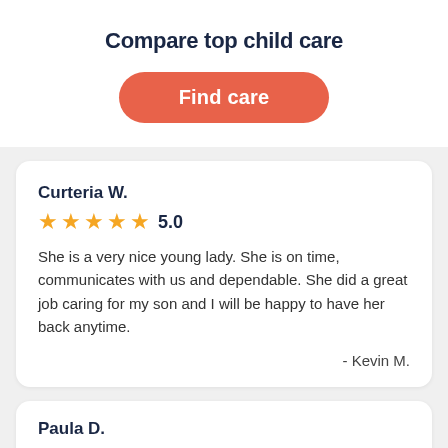Compare top child care
Find care
Curteria W.
★★★★★ 5.0
She is a very nice young lady. She is on time, communicates with us and dependable. She did a great job caring for my son and I will be happy to have her back anytime.
- Kevin M.
Paula D.